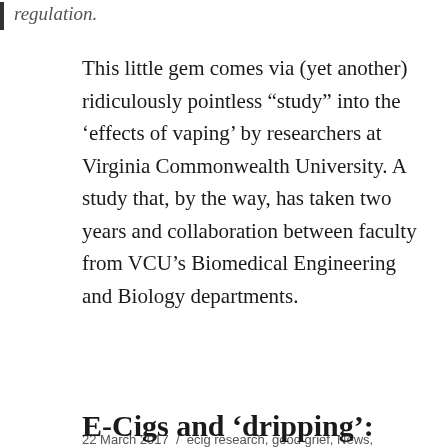regulation.
This little gem comes via (yet another) ridiculously pointless “study” into the ‘effects of vaping’ by researchers at Virginia Commonwealth University. A study that, by the way, has taken two years and collaboration between faculty from VCU’s Biomedical Engineering and Biology departments.
Continue reading
22 March 2017 / ecig research, good grief, News, Science, What?, wibble, wtf
E-Cigs and ‘dripping’: